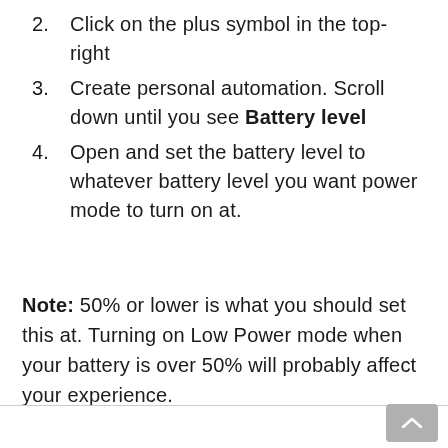2. Click on the plus symbol in the top-right
3. Create personal automation. Scroll down until you see Battery level
4. Open and set the battery level to whatever battery level you want power mode to turn on at.
Note: 50% or lower is what you should set this at. Turning on Low Power mode when your battery is over 50% will probably affect your experience.